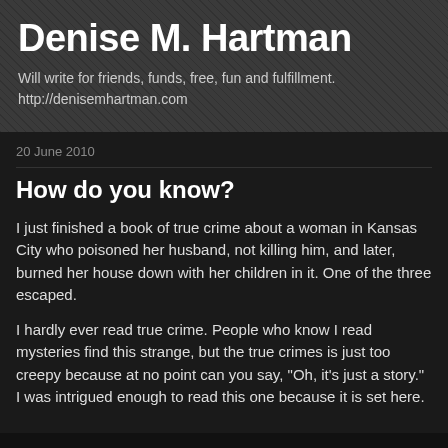Denise M. Hartman
Will write for friends, funds, free, fun and fulfillment.
http://denisemhartman.com
20 June 2010
How do you know?
I just finished a book of true crime about a woman in Kansas City who poisoned her husband, not killing him, and later, burned her house down with her children in it. One of the three escaped.
I hardly ever read true crime. People who know I read mysteries find this strange, but the true crimes is just too creepy because at no point can you say, "Oh, it's just a story." I was intrigued enough to read this one because it is set here.